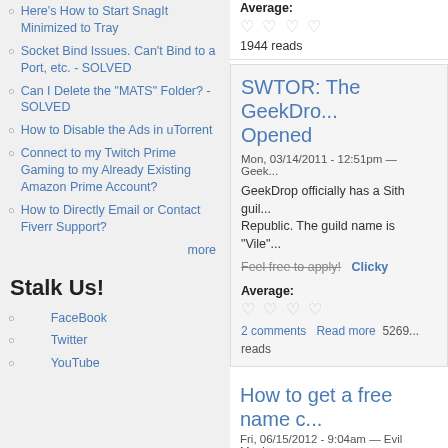Here's How to Start SnagIt Minimized to Tray
Socket Bind Issues. Can't Bind to a Port, etc. - SOLVED
Can I Delete the "MATS" Folder? - SOLVED
How to Disable the Ads in uTorrent
Connect to my Twitch Prime Gaming to my Already Existing Amazon Prime Account?
How to Directly Email or Contact Fiverr Support?
more
Stalk Us!
FaceBook
Twitter
YouTube
Average: 1944 reads
SWTOR: The GeekDro... Opened
Mon, 03/14/2011 - 12:51pm — Geek...
GeekDrop officially has a Sith guild... Republic. The guild name is "Vile"...
Feel free to apply!  Clicky
Average:
2 comments  Read more  5269... reads
How to get a free name c...
Fri, 06/15/2012 - 9:04am — Evil Monkey...